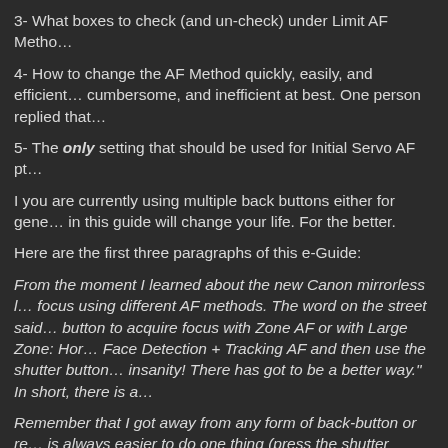3- What boxes to check (and un-check) under Limit AF Metho…
4- How to change the AF Method quickly, easily, and efficient… cumbersome, and inefficient at best. One person replied that…
5- The only setting that should be used for Initial Servo AF pt…
I you are currently using multiple back buttons either for gene… in this guide will change your life. For the better.
Here are the first three paragraphs of this e-Guide:
From the moment I learned about the new Canon mirrorless l… focus using different AF methods. The word on the street said… button to acquire focus with Zone AF or with Large Zone: Hor… Face Detection + Tracking AF and then use the shutter butto… insanity! There has got to be a better way." In short, there is a…
Remember that I got away from any form of back-button or re… is always easier to do one thing (press the shutter button), tha… press the shutter button).
The default method of switching AF Methods with the R5/R6 M… the grid button (my name) on the upper right back of the came… to toggle through the AF Methods. This method is so bad that…